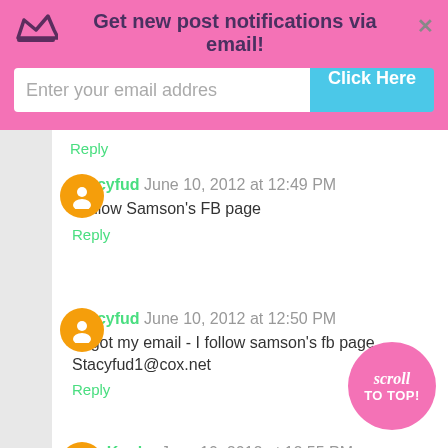Get new post notifications via email!
Reply
Stacyfud June 10, 2012 at 12:49 PM
I follow Samson's FB page
Reply
Stacyfud June 10, 2012 at 12:50 PM
forgot my email - I follow samson's fb page. Stacyfud1@cox.net
Reply
Kim Kouba June 10, 2012 at 12:55 PM
I follow Samson's on FB

Kim
Mamareel12@aol.com